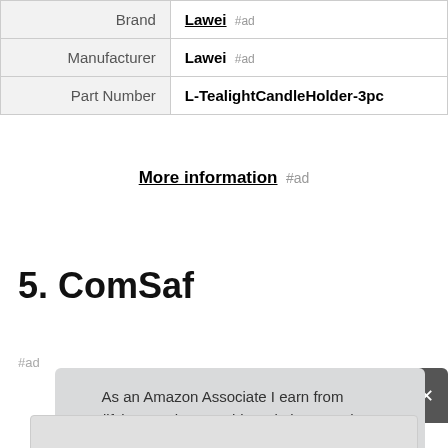|  |  |
| --- | --- |
| Brand | Lawei #ad |
| Manufacturer | Lawei #ad |
| Part Number | L-TealightCandleHolder-3pc |
More information #ad
5. ComSaf
#ad
As an Amazon Associate I earn from qualifying purchases. This website uses the only necessary cookies to ensure you get the best experience on our website. More information